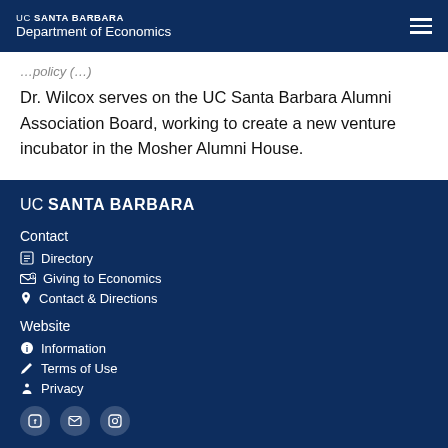UC SANTA BARBARA Department of Economics
Dr. Wilcox serves on the UC Santa Barbara Alumni Association Board, working to create a new venture incubator in the Mosher Alumni House.
UC SANTA BARBARA
Contact
Directory
Giving to Economics
Contact & Directions
Website
Information
Terms of Use
Privacy